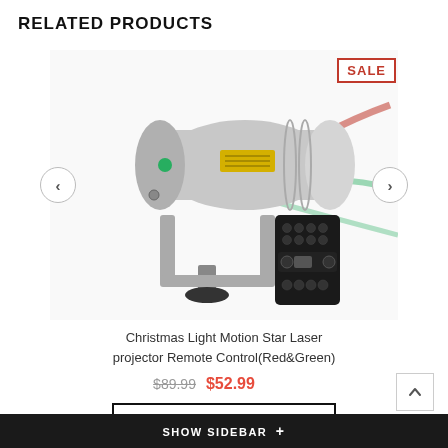RELATED PRODUCTS
[Figure (photo): Christmas laser light projector device (silver cylindrical body on a mount bracket) with a black remote control shown beside it, green and red laser beams emanating from the front, SALE badge in top right corner]
Christmas Light Motion Star Laser projector Remote Control(Red&Green)
$89.99  $52.99
SELECT OPTIONS
SHOW SIDEBAR +